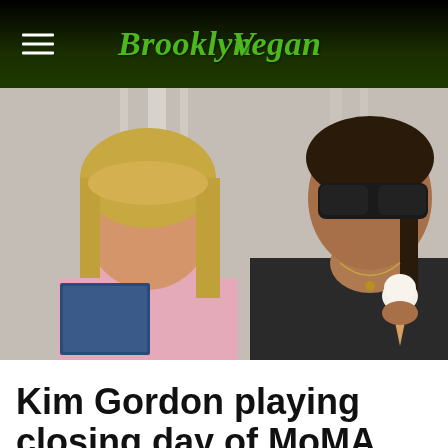BrooklynVegan
[Figure (photo): Two women indoors; one on the left wearing a pink top holding a blue folder, one on the right wearing sunglasses and a black jacket holding an ice cream cone.]
Kim Gordon playing closing day of MoMA PS1's Mike